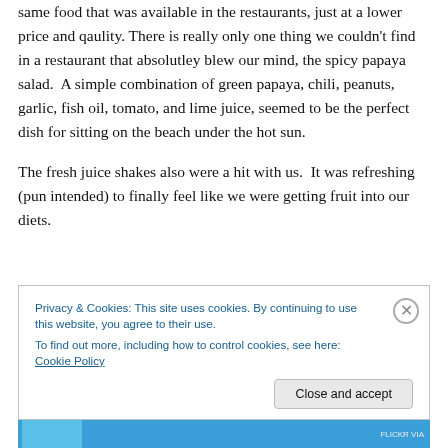same food that was available in the restaurants, just at a lower price and qaulity. There is really only one thing we couldn't find in a restaurant that absolutley blew our mind, the spicy papaya salad.  A simple combination of green papaya, chili, peanuts, garlic, fish oil, tomato, and lime juice, seemed to be the perfect dish for sitting on the beach under the hot sun.
The fresh juice shakes also were a hit with us.  It was refreshing (pun intended) to finally feel like we were getting fruit into our diets.
Privacy & Cookies: This site uses cookies. By continuing to use this website, you agree to their use.
To find out more, including how to control cookies, see here: Cookie Policy
Close and accept